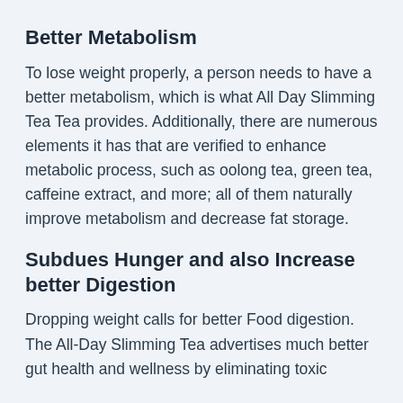Better Metabolism
To lose weight properly, a person needs to have a better metabolism, which is what All Day Slimming Tea Tea provides. Additionally, there are numerous elements it has that are verified to enhance metabolic process, such as oolong tea, green tea, caffeine extract, and more; all of them naturally improve metabolism and decrease fat storage.
Subdues Hunger and also Increase better Digestion
Dropping weight calls for better Food digestion. The All-Day Slimming Tea advertises much better gut health and wellness by eliminating toxic